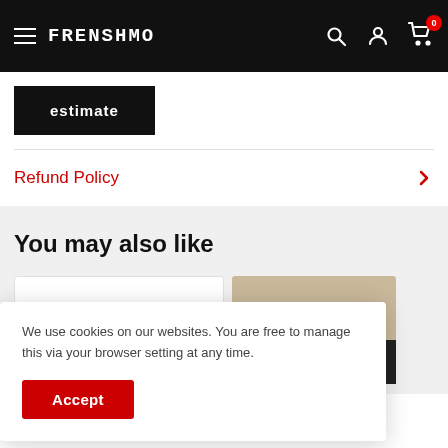FRENSHMO
Estimate
Refund Policy
You may also like
We use cookies on our websites. You are free to manage this via your browser setting at any time.